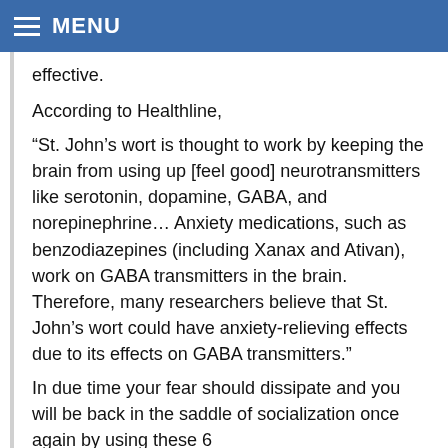MENU
effective.
According to Healthline,
“St. John’s wort is thought to work by keeping the brain from using up [feel good] neurotransmitters like serotonin, dopamine, GABA, and norepinephrine… Anxiety medications, such as benzodiazepines (including Xanax and Ativan), work on GABA transmitters in the brain. Therefore, many researchers believe that St. John’s wort could have anxiety-relieving effects due to its effects on GABA transmitters.”
In due time your fear should dissipate and you will be back in the saddle of socialization once again by using these 6